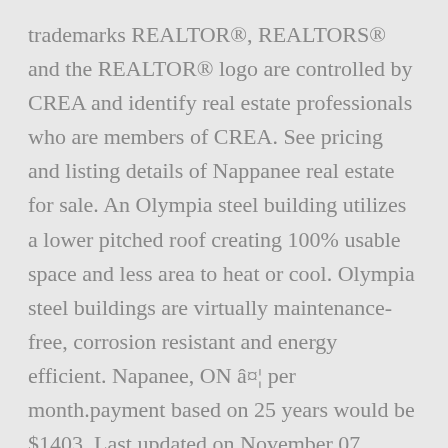trademarks REALTOR®, REALTORS® and the REALTOR® logo are controlled by CREA and identify real estate professionals who are members of CREA. See pricing and listing details of Nappanee real estate for sale. An Olympia steel building utilizes a lower pitched roof creating 100% usable space and less area to heat or cool. Olympia steel buildings are virtually maintenance-free, corrosion resistant and energy efficient. Napanee, ON â¤¦ per month.payment based on 25 years would be $1403. Last updated on November 07, 2020. $1000. Find the right business location or commercial property in Napanee with our commercial MLS listings. Greater Napanee, ON Real Estate - Homes For